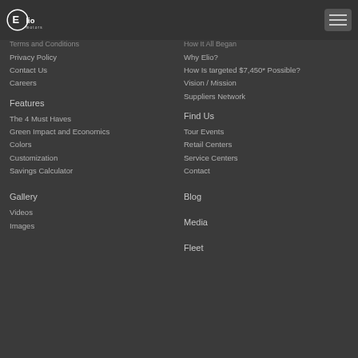[Figure (logo): Elio Motors logo with circular E emblem and hamburger menu icon]
Terms and Conditions
Privacy Policy
Contact Us
Careers
How It All Began
Why Elio?
How Is targeted $7,450* Possible?
Vision / Mission
Suppliers Network
Features
The 4 Must Haves
Green Impact and Economics
Colors
Customization
Savings Calculator
Find Us
Tour Events
Retail Centers
Service Centers
Contact
Gallery
Videos
Images
Blog
Media
Fleet